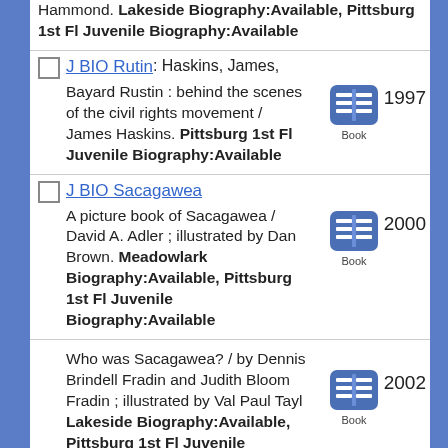Hammond. Lakeside Biography:Available, Pittsburg 1st Fl Juvenile Biography:Available
J BIO Rutin : Haskins, James, Bayard Rustin : behind the scenes of the civil rights movement / James Haskins. Pittsburg 1st Fl Juvenile Biography:Available 1997 Book
J BIO Sacagawea : A picture book of Sacagawea / David A. Adler ; illustrated by Dan Brown. Meadowlark Biography:Available, Pittsburg 1st Fl Juvenile Biography:Available 2000 Book
Who was Sacagawea? / by Dennis Brindell Fradin and Judith Bloom Fradin ; illustrated by Val Paul Tayl Lakeside Biography:Available, Pittsburg 1st Fl Juvenile Biography:Available 2002 Book